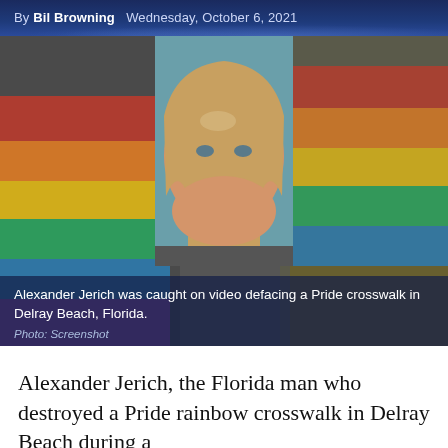By Bil Browning   Wednesday, October 6, 2021
[Figure (photo): Mugshot of Alexander Jerich, a young heavyset man with long blonde hair, overlaid on a background showing a rainbow Pride crosswalk in Delray Beach, Florida.]
Alexander Jerich was caught on video defacing a Pride crosswalk in Delray Beach, Florida.
Photo: Screenshot
Alexander Jerich, the Florida man who destroyed a Pride rainbow crosswalk in Delray Beach during a